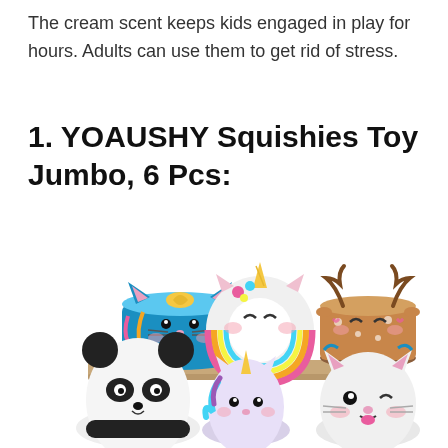The cream scent keeps kids engaged in play for hours. Adults can use them to get rid of stress.
1. YOAUSHY Squishies Toy Jumbo, 6 Pcs:
[Figure (photo): Photo of 6 squishy toys arranged on a surface: top row has a blue cat cake squishy, a white unicorn donut squishy, and a brown reindeer cake squishy; bottom row has a panda egg squishy, a white unicorn squishy, and a white cat squishy.]